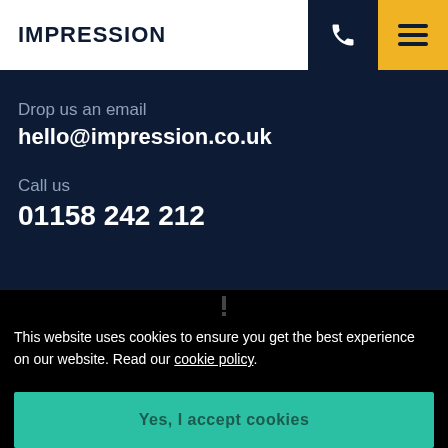IMPRESSION
Drop us an email
hello@impression.co.uk
Call us
01158 242 212
This website uses cookies to ensure you get the best experience on our website. Read our cookie policy.
Yes, I accept cookies